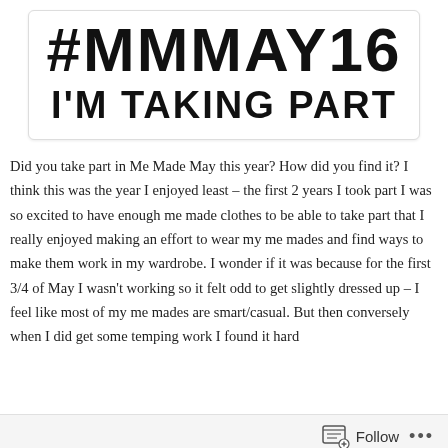[Figure (other): Me Made May 2016 participation badge with large bold text: #MMMAY16 and I'M TAKING PART on white background with rounded border]
Did you take part in Me Made May this year? How did you find it? I think this was the year I enjoyed least – the first 2 years I took part I was so excited to have enough me made clothes to be able to take part that I really enjoyed making an effort to wear my me mades and find ways to make them work in my wardrobe. I wonder if it was because for the first 3/4 of May I wasn't working so it felt odd to get slightly dressed up – I feel like most of my me mades are smart/casual. But then conversely when I did get some temping work I found it hard
Follow ...